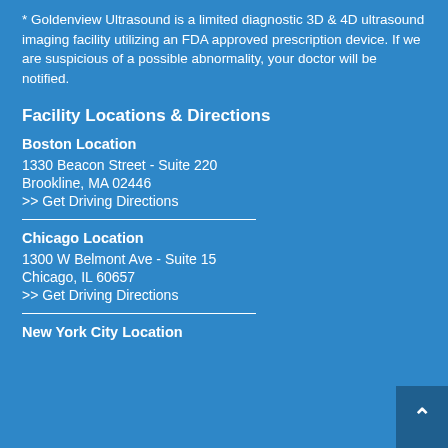* Goldenview Ultrasound is a limited diagnostic 3D & 4D ultrasound imaging facility utilizing an FDA approved prescription device. If we are suspicious of a possible abnormality, your doctor will be notified.
Facility Locations & Directions
Boston Location
1330 Beacon Street - Suite 220
Brookline, MA 02446
>> Get Driving Directions
Chicago Location
1300 W Belmont Ave - Suite 15
Chicago, IL 60657
>> Get Driving Directions
New York City Location